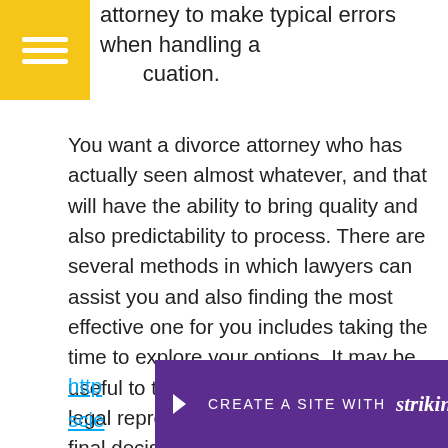attorney to make typical errors when handling a situation.
You want a divorce attorney who has actually seen almost whatever, and that will have the ability to bring quality and also predictability to process. There are several methods in which lawyers can assist you and also finding the most effective one for you includes taking the time to explore your options. It may be useful to talk to a couple of different legal representatives prior to making a final decision. Click here for more information about the subject:
http...
scie...